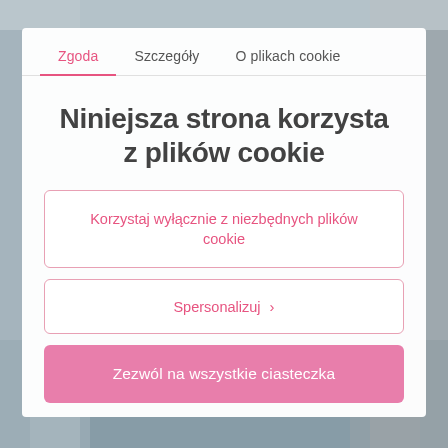[Figure (screenshot): Blurred background photo of a city/building scene in grey-blue tones]
Zgoda	Szczegóły	O plikach cookie
Niniejsza strona korzysta z plików cookie
Korzystaj wyłącznie z niezbędnych plików cookie
Spersonalizuj >
Zezwól na wszystkie ciasteczka